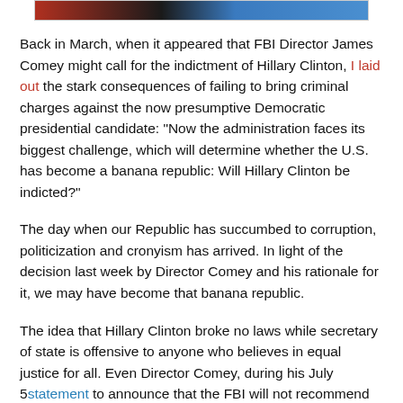[Figure (photo): Top strip showing partial images of people/faces across the top of the page]
Back in March, when it appeared that FBI Director James Comey might call for the indictment of Hillary Clinton, I laid out the stark consequences of failing to bring criminal charges against the now presumptive Democratic presidential candidate: “Now the administration faces its biggest challenge, which will determine whether the U.S. has become a banana republic: Will Hillary Clinton be indicted?”
The day when our Republic has succumbed to corruption, politicization and cronyism has arrived. In light of the decision last week by Director Comey and his rationale for it, we may have become that banana republic.
The idea that Hillary Clinton broke no laws while secretary of state is offensive to anyone who believes in equal justice for all. Even Director Comey, during his July 5 statement to announce that the FBI will not recommend prosecution, did not argue that Mrs. Clinton and her staff weren’t in the wrong. Rather, he said that “no reasonable prosecutor would bring such a case”